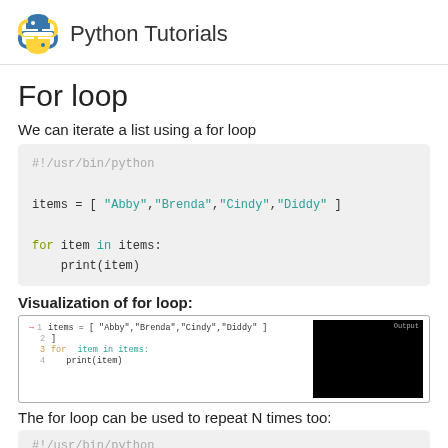Python Tutorials
For loop
We can iterate a list using a for loop
[Figure (screenshot): Python code block showing: #!/usr/bin/python, items = [ "Abby","Brenda","Cindy","Diddy" ], for item in items:, print(item)]
Visualization of for loop:
[Figure (screenshot): Visualization screenshot of for loop debugger showing items list and for loop code with output panel on right]
The for loop can be used to repeat N times too:
[Figure (screenshot): Partial code block showing #!/usr/bin/python]